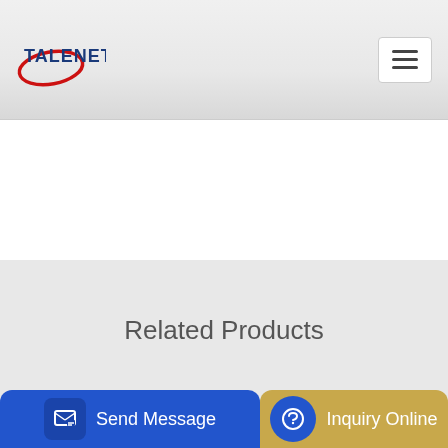[Figure (logo): Talenet company logo with red oval shape and blue bold text 'TALENET']
Related Products
Concrete Pump Manufacturers Wholesale price for Concrete
concrete mixer kenya concrete mixer price in kenya
Send Message
Inquiry Online